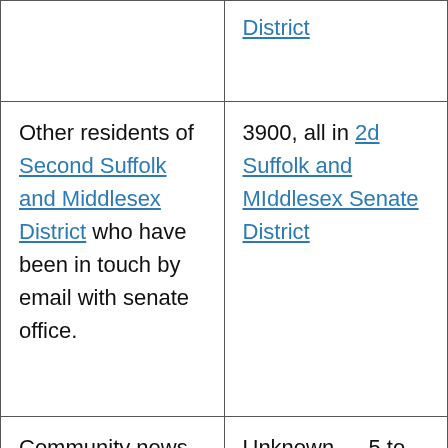|  | District |
| Other residents of Second Suffolk and Middlesex District who have been in touch by email with senate office. | 3900, all in 2d Suffolk and MIddlesex Senate District |
| Community news | Unknown — 5 to 10 thousand — mostly in 2d |